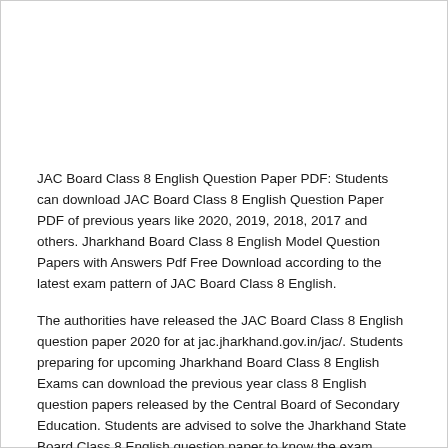JAC Board Class 8 English Question Paper PDF: Students can download JAC Board Class 8 English Question Paper PDF of previous years like 2020, 2019, 2018, 2017 and others. Jharkhand Board Class 8 English Model Question Papers with Answers Pdf Free Download according to the latest exam pattern of JAC Board Class 8 English.
The authorities have released the JAC Board Class 8 English question paper 2020 for at jac.jharkhand.gov.in/jac/. Students preparing for upcoming Jharkhand Board Class 8 English Exams can download the previous year class 8 English question papers released by the Central Board of Secondary Education. Students are advised to solve the Jharkhand State Board Class 8 English question paper to know the exam pattern. Moreover, it will help the candidates to